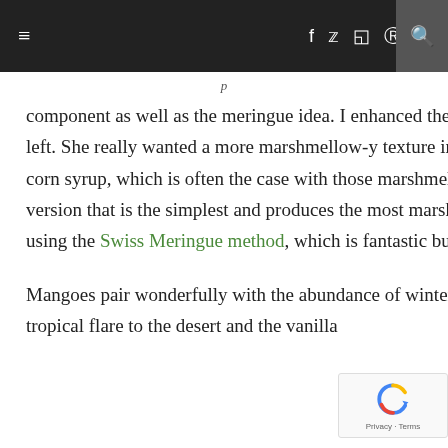Navigation bar with menu, social icons, and search
component as well as the meringue idea. I enhanced the final version for the meringue, after she left. She really wanted a more marshmellow-y texture in the meringue but I but I didn't want to use corn syrup, which is often the case with those marshmellow-y meringues. I finally perfected the version that is the simplest and produces the most marshmellow-y texture I could achieve without using the Swiss Meringue method, which is fantastic but a little more work.
Mangoes pair wonderfully with the abundance of winter citrus and give a sweet, perfumed scant tropical flare to the desert and the vanilla